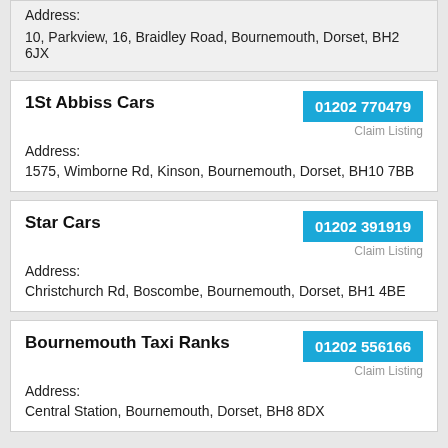Address:
10, Parkview, 16, Braidley Road, Bournemouth, Dorset, BH2 6JX
1St Abbiss Cars
01202 770479
Claim Listing
Address:
1575, Wimborne Rd, Kinson, Bournemouth, Dorset, BH10 7BB
Star Cars
01202 391919
Claim Listing
Address:
Christchurch Rd, Boscombe, Bournemouth, Dorset, BH1 4BE
Bournemouth Taxi Ranks
01202 556166
Claim Listing
Address:
Central Station, Bournemouth, Dorset, BH8 8DX